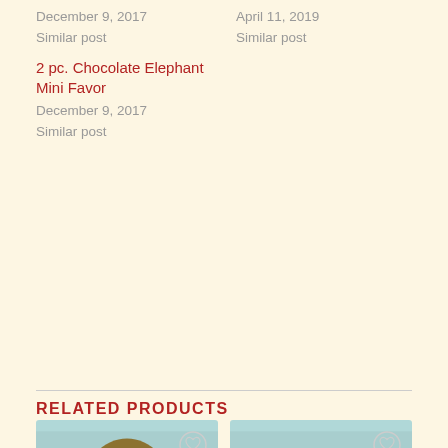December 9, 2017
Similar post
April 11, 2019
Similar post
2 pc. Chocolate Elephant Mini Favor
December 9, 2017
Similar post
RELATED PRODUCTS
[Figure (photo): Chocolate mushroom/tree shaped figure on a pedestal, dark golden-brown color, on light blue background with heart icon]
[Figure (photo): Chocolate rectangular bar with embossed poppy flower design, milk chocolate color, on light blue background with heart icon]